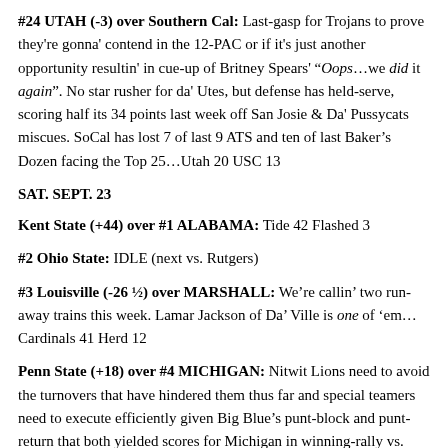#24 UTAH (-3) over Southern Cal: Last-gasp for Trojans to prove they're gonna' contend in the 12-PAC or if it's just another opportunity resultin' in cue-up of Britney Spears' "Oops…we did it again". No star rusher for da' Utes, but defense has held-serve, scoring half its 34 points last week off San Josie & Da' Pussycats miscues. SoCal has lost 7 of last 9 ATS and ten of last Baker's Dozen facing the Top 25…Utah 20 USC 13
SAT. SEPT. 23
Kent State (+44) over #1 ALABAMA: Tide 42 Flashed 3
#2 Ohio State: IDLE (next vs. Rutgers)
#3 Louisville (-26 ½) over MARSHALL: We're callin' two run-away trains this week. Lamar Jackson of Da' Ville is one of 'em…Cardinals 41 Herd 12
Penn State (+18) over #4 MICHIGAN: Nitwit Lions need to avoid the turnovers that have hindered them thus far and special teamers need to execute efficiently given Big Blue's punt-block and punt-return that both yielded scores for Michigan in winning-rally vs. Colorado. RB Saquon Barkley tallied fitty-five of his sixty-four rushing yards on a single-carry and needs to be more reliable to help out his young QB. Da' Alma Mater outscored the Owls only in